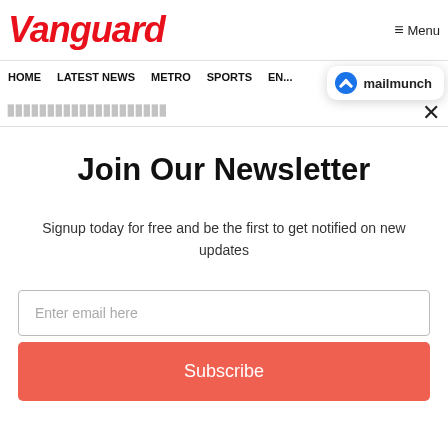Vanguard  ≡ Menu
HOME  LATEST NEWS  METRO  SPORTS  ENTERTAINMENT  VIDEOS
[Figure (logo): MailMunch logo badge with blue M icon and text 'mailmunch']
×
Join Our Newsletter
Signup today for free and be the first to get notified on new updates
Enter email here
Subscribe